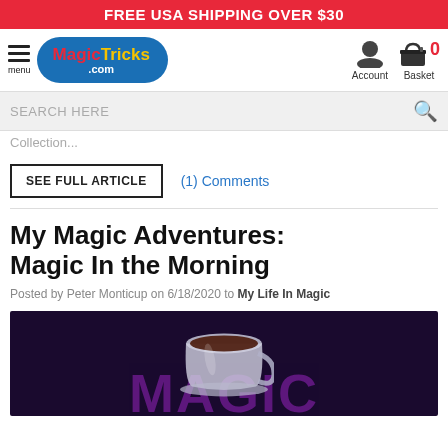FREE USA SHIPPING OVER $30
[Figure (logo): MagicTricks.com logo in blue oval with hamburger menu on left, Account and Basket icons on right]
SEARCH HERE
Collection...
SEE FULL ARTICLE
(1) Comments
My Magic Adventures: Magic In the Morning
Posted by Peter Monticup on 6/18/2020 to My Life In Magic
[Figure (illustration): Dark purple background with 'MAGIC' text and a coffee cup illustration]